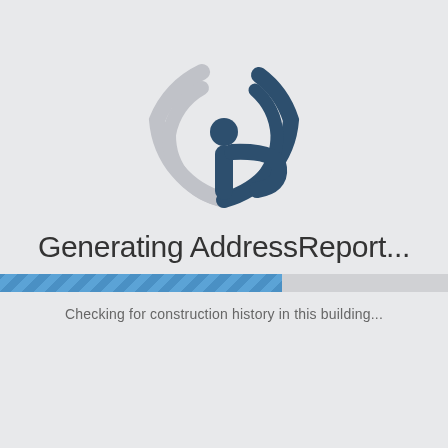[Figure (logo): Circular radio-wave/location pin icon in dark navy and light gray, representing an address or geolocation service logo]
Generating AddressReport...
[Figure (infographic): Horizontal progress bar approximately 63% filled with a diagonal striped blue pattern on a light gray background]
Checking for construction history in this building...